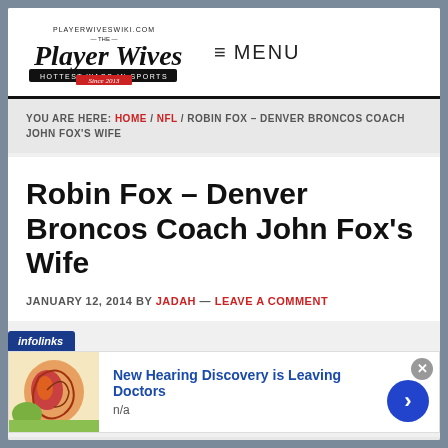PLAYERWIVESWIKI.COM — THE — Player Wives HOTTEST WAGS IN SPORTS Since 2013 | MENU
YOU ARE HERE: HOME / NFL / ROBIN FOX – DENVER BRONCOS COACH JOHN FOX'S WIFE
Robin Fox – Denver Broncos Coach John Fox's Wife
JANUARY 12, 2014 BY JADAH — LEAVE A COMMENT
[Figure (screenshot): Infolinks ad banner with ear anatomy thumbnail image. Ad title: 'New Hearing Discovery is Leaving Doctors'. Subtitle: 'n/a'. Blue arrow button on right. Gray X close button top right.]